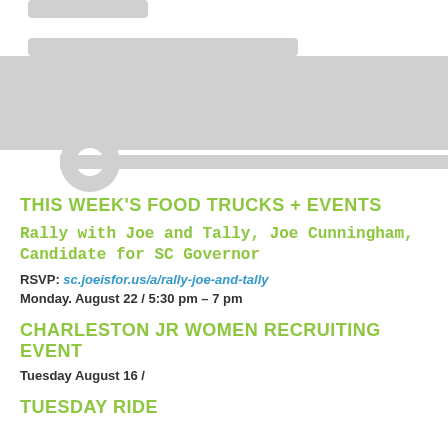[Figure (illustration): Gray silhouette/outline of a food truck, showing the side profile with wheels, body panels, and service window cutout. Partially cropped at top.]
THIS WEEK'S FOOD TRUCKS + EVENTS
Rally with Joe and Tally, Joe Cunningham, Candidate for SC Governor
RSVP: sc.joeisfor.us/a/rally-joe-and-tally
Monday. August 22 / 5:30 pm – 7 pm
CHARLESTON JR WOMEN RECRUITING EVENT
Tuesday August 16 /
TUESDAY RIDE